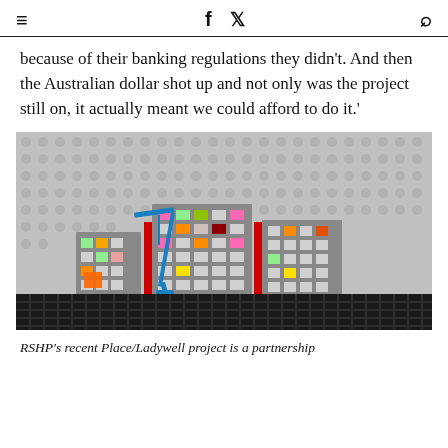≡  f  𝕏  🔍
because of their banking regulations they didn't. And then the Australian dollar shot up and not only was the project still on, it actually meant we could afford to do it.'
[Figure (photo): LEGO model of buildings with colorful windows (pink, orange, green, yellow) and a blue crane, set against a grey LEGO baseplate background, with a black grid shelf in the foreground.]
RSHP's recent Place/Ladywell project is a partnership